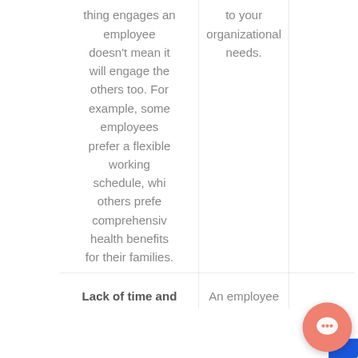| thing engages an employee doesn't mean it will engage the others too. For example, some employees prefer a flexible working schedule, whi others prefe comprehensiv health benefits for their families. | to your organizational needs. |  |
| Lack of time and | An employee |  |
[Figure (screenshot): Leena AI chat widget popup showing the message: 'Hey there, 👋 What brought you to Leena AI today?' with a close button (X) and the Leena AI logo icon at the top. A coral/salmon colored circular chat button is visible in the bottom right corner with a chat icon.]